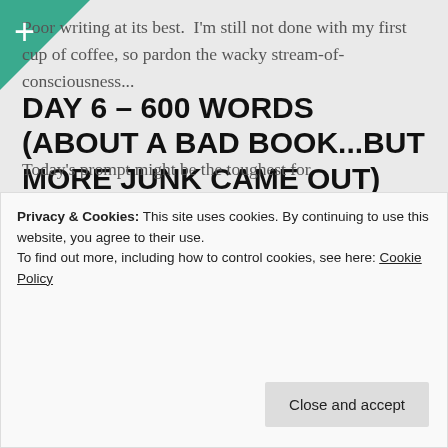DAY 6 – 600 WORDS (ABOUT A BAD BOOK...BUT MORE JUNK CAME OUT)
Poor writing at its best.  I'm still not done with my first cup of coffee, so pardon the wacky stream-of-consciousness...
Today's prompt might be the toughest for
Privacy & Cookies: This site uses cookies. By continuing to use this website, you agree to their use.
To find out more, including how to control cookies, see here: Cookie Policy
Close and accept